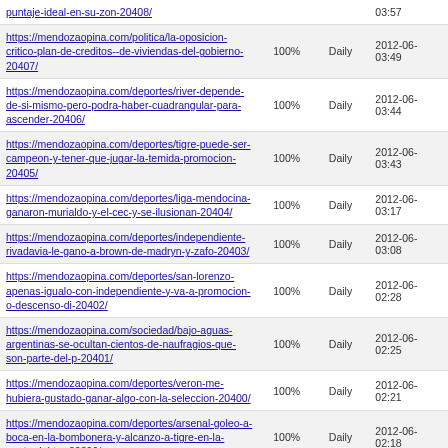| URL | Priority | Change Freq | Last Modified |
| --- | --- | --- | --- |
| puntaje-ideal-en-su-zon-20408/ |  |  | 03:57 |
| https://mendozaopina.com/politica/la-oposicion-critico-plan-de-creditos--de-viviendas-del-gobierno-20407/ | 100% | Daily | 2012-06-03:49 |
| https://mendozaopina.com/deportes/river-depende-de-si-mismo-pero-podra-haber-cuadrangular-para-ascender-20406/ | 100% | Daily | 2012-06-03:44 |
| https://mendozaopina.com/deportes/tigre-puede-ser-campeon-y-tener-que-jugar-la-temida-promocion-20405/ | 100% | Daily | 2012-06-03:43 |
| https://mendozaopina.com/deportes/liga-mendocina-ganaron-murialdo-y-el-cec-y-se-ilusionan-20404/ | 100% | Daily | 2012-06-03:17 |
| https://mendozaopina.com/deportes/independiente-rivadavia-le-gano-a-brown-de-madryn-y-zafo-20403/ | 100% | Daily | 2012-06-03:08 |
| https://mendozaopina.com/deportes/san-lorenzo-apenas-igualo-con-independiente-y-va-a-promocion-o-descenso-di-20402/ | 100% | Daily | 2012-06-02:28 |
| https://mendozaopina.com/sociedad/bajo-aguas-argentinas-se-ocultan-cientos-de-naufragios-que-son-parte-del-p-20401/ | 100% | Daily | 2012-06-02:25 |
| https://mendozaopina.com/deportes/veron-me-hubiera-gustado-ganar-algo-con-la-seleccion-20400/ | 100% | Daily | 2012-06-02:21 |
| https://mendozaopina.com/deportes/arsenal-goleo-a-boca-en-la-bombonera-y-alcanzo-a-tigre-en-la-punta-del-tor-20399/ | 100% | Daily | 2012-06-02:18 |